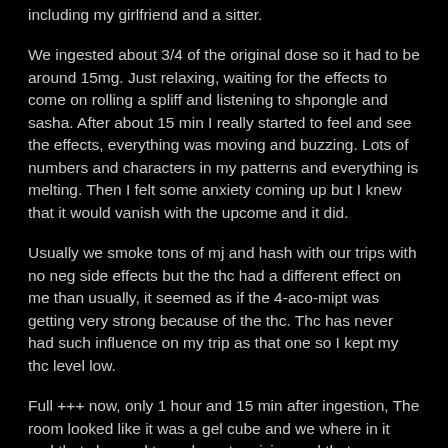including my girlfriend and a sitter.
We ingested about 3/4 of the original dose so it had to be around 15mg. Just relaxing, waiting for the effects to come on rolling a spliff and listening to shpongle and sasha. After about 15 min I really started to feel and see the effects, everything was moving and buzzing. Lots of numbers and characters in my patterns and everything is melting. Then I felt some anxiety coming up but I knew that it would vanish with the upcome and it did.
Usually we smoke tons of mj and hash with our trips with no neg side effects but the thc had a different effect on me than usually, it seemed as if the 4-aco-mipt was getting very strong because of the thc. Thc has never had such influence on my trip as that one so I kept my thc level low.
Full +++ now, only 1 hour and 15 min after ingestion, The room looked like it was a gel cube and we where in it and that changed to underwater vision and that